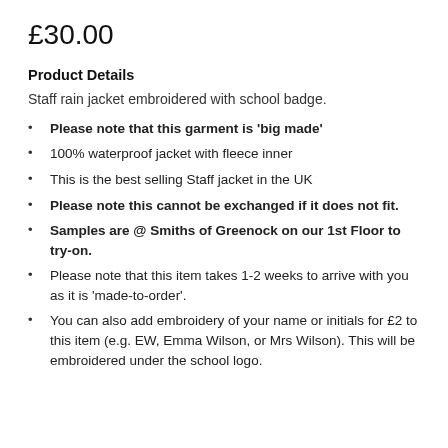£30.00
Product Details
Staff rain jacket embroidered with school badge.
Please note that this garment is 'big made'
100% waterproof jacket with fleece inner
This is the best selling Staff jacket in the UK
Please note this cannot be exchanged if it does not fit.
Samples are @ Smiths of Greenock on our 1st Floor to try-on.
Please note that this item takes 1-2 weeks to arrive with you as it is 'made-to-order'.
You can also add embroidery of your name or initials for £2 to this item (e.g. EW, Emma Wilson, or Mrs Wilson). This will be embroidered under the school logo.